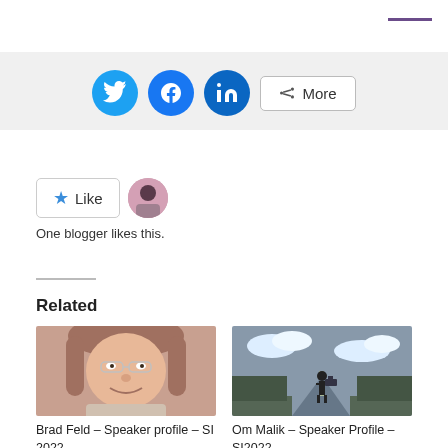[Figure (infographic): Social share buttons: Twitter (blue circle), Facebook (blue circle), LinkedIn (teal circle), and a More button with share icon]
[Figure (infographic): Like button with star icon and a blogger avatar circle. Text: One blogger likes this.]
One blogger likes this.
Related
[Figure (photo): Photo of Brad Feld, a man with glasses and long hair, smiling]
Brad Feld – Speaker profile – SI 2022
May 25, 2022
[Figure (photo): Black and white photo of Om Malik standing on a road with camera equipment]
Om Malik – Speaker Profile – SI2022
April 29, 2022